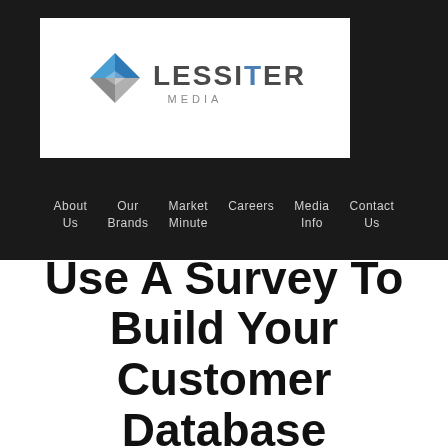[Figure (logo): Lessiter Media logo with blue and grey diamond/chevron mark and text 'LESSITER MEDIA']
About Us  Our Brands  Market Minute  Careers  Media Info  Contact Us
Use A Survey To Build Your Customer Database